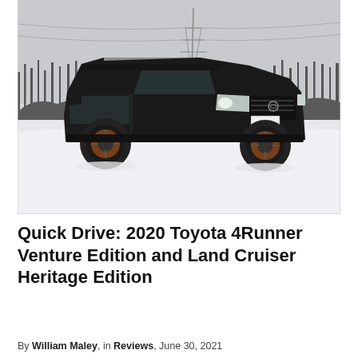[Figure (photo): A black Toyota Land Cruiser Heritage Edition photographed in a snowy outdoor setting. The SUV has a roof rack, bronze-colored wheels, and the headlights are on. Bare winter trees and a power transmission tower are visible in the background. Snow covers the ground.]
Quick Drive: 2020 Toyota 4Runner Venture Edition and Land Cruiser Heritage Edition
By William Maley, in Reviews, June 30, 2021